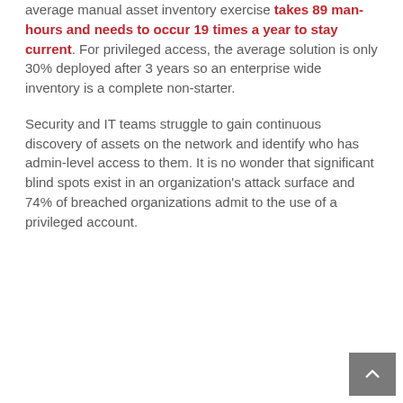average manual asset inventory exercise takes 89 man-hours and needs to occur 19 times a year to stay current. For privileged access, the average solution is only 30% deployed after 3 years so an enterprise wide inventory is a complete non-starter.
Security and IT teams struggle to gain continuous discovery of assets on the network and identify who has admin-level access to them. It is no wonder that significant blind spots exist in an organization's attack surface and 74% of breached organizations admit to the use of a privileged account.